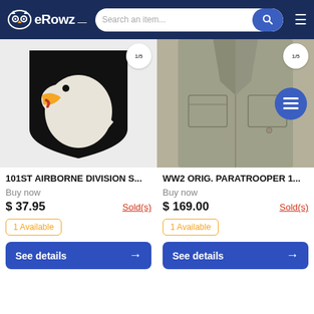eRowz — Search an item...
[Figure (photo): 101st Airborne Division embroidered patch on black shield background with eagle head in white, yellow beak, and red tongue on white background]
[Figure (photo): WW2 paratrooper military jacket/shirt in olive drab/khaki color with pocket and button detail, with blue list icon button overlay]
101ST AIRBORNE DIVISION S...
Buy now
$ 37.95
Sold(s)
1 Available
See details
WW2 ORIG. PARATROOPER 1...
Buy now
$ 169.00
Sold(s)
1 Available
See details